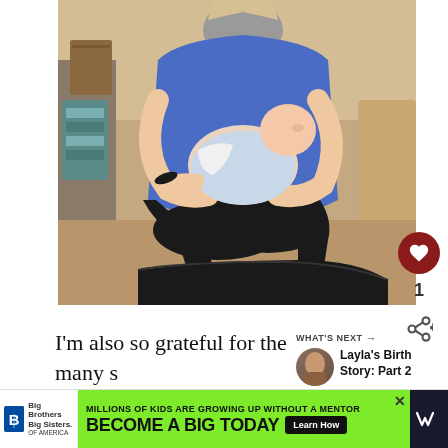[Figure (photo): A person in a blue top and black leggings sitting and holding/feeding a newborn baby wrapped in light-colored clothing, in a home setting with carpet floor and furniture visible]
I'm also so grateful for the many s... and wonderful people in my life. Being a m... [so]
[Figure (photo): Small circular thumbnail image of Layla's Birth Story Part 2]
WHAT'S NEXT → Layla's Birth Story: Part 2
[Figure (infographic): Big Brothers Big Sisters advertisement banner: MILLIONS OF KIDS ARE GROWING UP WITHOUT A MENTOR. BECOME A BIG TODAY. Learn How.]